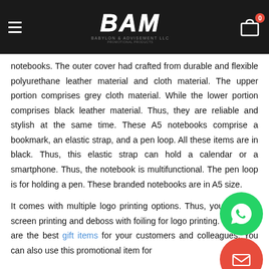BAM - Babylon & Advisement LLC
notebooks. The outer cover had crafted from durable and flexible polyurethane leather material and cloth material. The upper portion comprises grey cloth material. While the lower portion comprises black leather material. Thus, they are reliable and stylish at the same time. These A5 notebooks comprise a bookmark, an elastic strap, and a pen loop. All these items are in black. Thus, this elastic strap can hold a calendar or a smartphone. Thus, the notebook is multifunctional. The pen loop is for holding a pen. These branded notebooks are in A5 size.
It comes with multiple logo printing options. Thus, you can use screen printing and deboss with foiling for logo printing. So, these are the best gift items for your customers and colleagues. You can also use this promotional item for